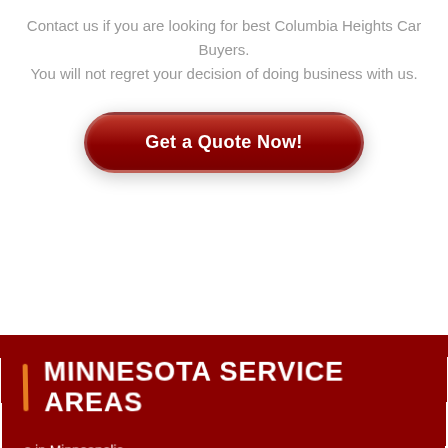Contact us if you are looking for best Columbia Heights Car Buyers. You will not regret your decision of doing business with us.
[Figure (other): Red rounded button with text 'Get a Quote Now!']
MINNESOTA SERVICE AREAS
s in Minneapolis
age Car in Coon Rapids
s Medina MN
Car Buyers
s Tonka Bay, MN
s Dellwood MN
age Car in Deep Haven, MN